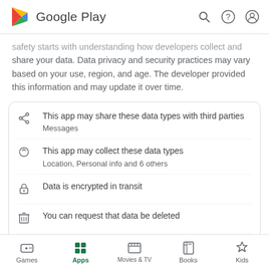Google Play
safety starts with understanding how developers collect and share your data. Data privacy and security practices may vary based on your use, region, and age. The developer provided this information and may update it over time.
This app may share these data types with third parties
Messages
This app may collect these data types
Location, Personal info and 6 others
Data is encrypted in transit
You can request that data be deleted
See details
Games  Apps  Movies & TV  Books  Kids